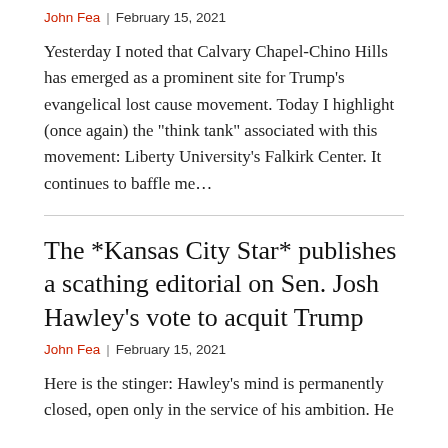John Fea  |  February 15, 2021
Yesterday I noted that Calvary Chapel-Chino Hills has emerged as a prominent site for Trump’s evangelical lost cause movement. Today I highlight (once again) the “think tank” associated with this movement: Liberty University’s Falkirk Center. It continues to baffle me…
The *Kansas City Star* publishes a scathing editorial on Sen. Josh Hawley’s vote to acquit Trump
John Fea  |  February 15, 2021
Here is the stinger: Hawley’s mind is permanently closed, open only in the service of his ambition. He